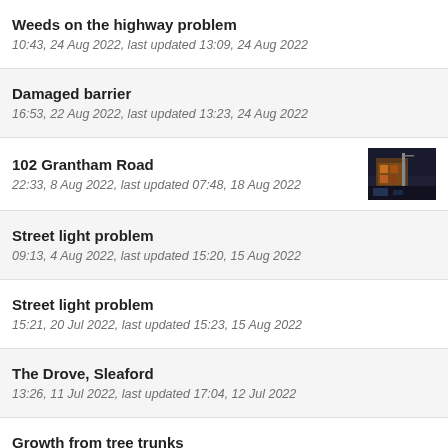Weeds on the highway problem
10:43, 24 Aug 2022, last updated 13:09, 24 Aug 2022
Damaged barrier
16:53, 22 Aug 2022, last updated 13:23, 24 Aug 2022
102 Grantham Road
22:33, 8 Aug 2022, last updated 07:48, 18 Aug 2022
Street light problem
09:13, 4 Aug 2022, last updated 15:20, 15 Aug 2022
Street light problem
15:21, 20 Jul 2022, last updated 15:23, 15 Aug 2022
The Drove, Sleaford
13:26, 11 Jul 2022, last updated 17:04, 12 Jul 2022
Growth from tree trunks
08:39, 11 Jul 2022, last updated 19:25, 18 Jul 2022
Road closed not a closed road
14:25, 29 Jun 2022, last updated 09:56, 30 Jun 2022